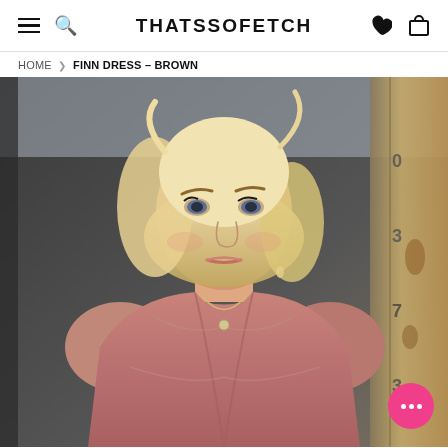THATSSOFETCH
HOME > FINN DRESS – BROWN
[Figure (photo): A blonde woman wearing a brown/mauve ruched off-shoulder dress, posing in front of dark shipping containers outdoors. She wears a delicate necklace and has soft waves in her hair. A pink chat bubble icon appears in the bottom right corner.]